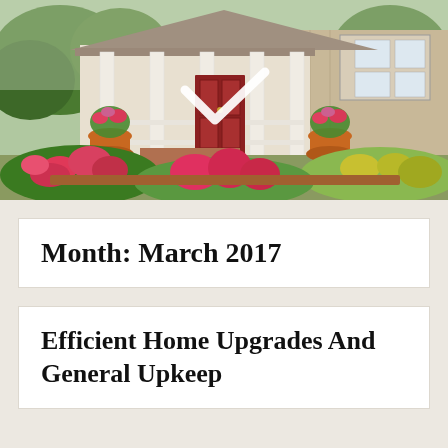[Figure (photo): Photo of a traditional American home with white columns on a covered porch, red front door, tan siding, brick steps, and colorful flower gardens in the foreground. A white checkmark icon is overlaid on the center of the image.]
Month: March 2017
Efficient Home Upgrades And General Upkeep